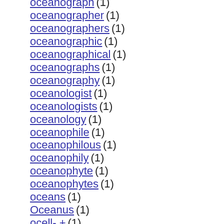oceanograph (1)
oceanographer (1)
oceanographers (1)
oceanographic (1)
oceanographical (1)
oceanographs (1)
oceanography (1)
oceanologist (1)
oceanologists (1)
oceanology (1)
oceanophile (1)
oceanophilous (1)
oceanophily (1)
oceanophyte (1)
oceanophytes (1)
oceans (1)
Oceanus (1)
ocell- + (1)
ocellar (1)
ocellary (1)
ocellate (1)
ocellated (1)